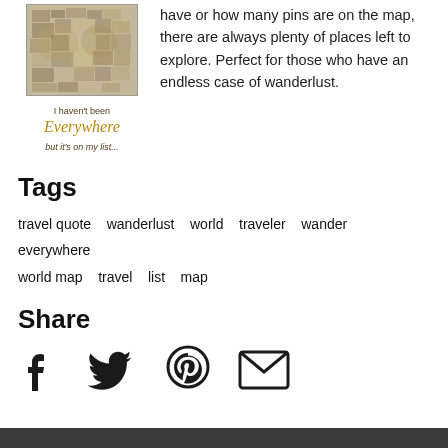[Figure (illustration): Product image of a travel quote print with a world map mosaic and text 'I haven't been Everywhere but it's on my list...']
have or how many pins are on the map, there are always plenty of places left to explore. Perfect for those who have an endless case of wanderlust.
Tags
travel quote   wanderlust   world   traveler   wander   everywhere   world map   travel   list   map
Share
[Figure (infographic): Social share icons: Facebook, Twitter, Pinterest, Email]